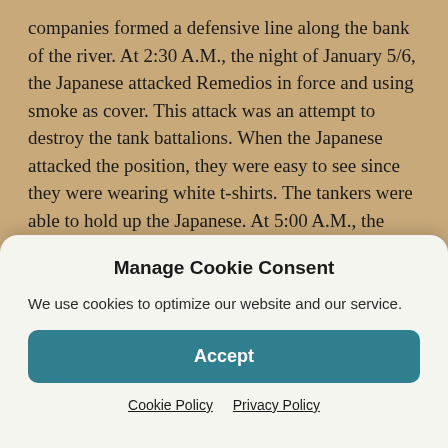companies formed a defensive line along the bank of the river. At 2:30 A.M., the night of January 5/6, the Japanese attacked Remedios in force and using smoke as cover. This attack was an attempt to destroy the tank battalions. When the Japanese attacked the position, they were easy to see since they were wearing white t-shirts. The tankers were able to hold up the Japanese. At 5:00 A.M., the Japanese withdrew having suffered heavy casualties. The night of January 6/7 the tanks withdrew into the peninsula with the 192nd holding its position so that the 194th Tank Battalion could leapfrog past it, cross the
Manage Cookie Consent
We use cookies to optimize our website and our service.
Accept
Cookie Policy   Privacy Policy